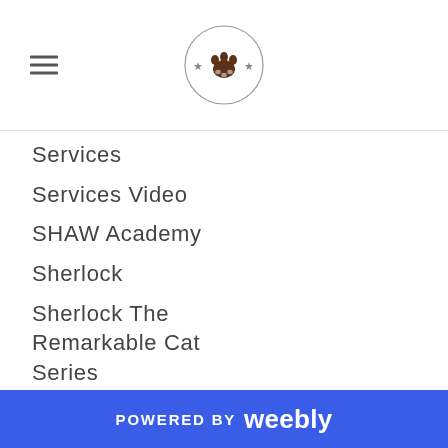[Figure (logo): Circular logo with paw print and stars, website header logo]
Services
Services Video
SHAW Academy
Sherlock
Sherlock The Remarkable Cat Series
Shirt
SK
Social Media
Social Media
POWERED BY weebly